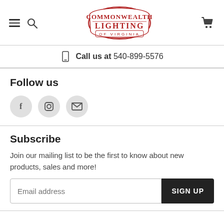Commonwealth Lighting of Virginia — navigation header with hamburger, search, logo, and cart icons
Call us at 540-899-5576
Follow us
[Figure (other): Three social media icon buttons in grey circles: Facebook (f), Instagram (square camera), Email (envelope)]
Subscribe
Join our mailing list to be the first to know about new products, sales and more!
Email address [input field] SIGN UP [button]